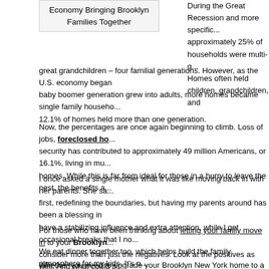Economy Bringing Brooklyn Families Together
During the Great Recession and more specifically approximately 25% of households were multi-g... Homes often held children, grandchildren, and great grandchildren – four familial generations. However, as the U.S. economy began baby boomer generation grew into adults, more homes became single family households. 12.1% of homes held more than one generation.
Now, the percentages are once again beginning to climb. Loss of jobs, foreclosed homes, and financial security has contributed to approximately 49 million Americans, or 16.1%, living in multi-generational homes. While this is far from ideal for those in a hurry to leave the nest, the benefits are...
I once asked a single mother what it was like moving back in with her parents. She said first, redefining the boundaries, but having my parents around has been a blessing in have a stabilizing influence and extra attention, while I get occasional breaks that I no... We eat dinner together too, which helps build the family atmosphere for my kids. It's r... roses, there's a lot of compromise, but it works."
For those who have been thinking about letting your family move in to your Brooklyn... consider more than just the negatives. Look at the positives as well. And what could be better than closer family ties?
Whether you need to upgrade your Brooklyn New York home to a bigger family home or a smaller one, I can help. Charles D'Alessandro your Brooklyn Realtor® with Fillmore R... 253-9600 ext.206 or email me at charles@brooklynrealestatesales.com for more infor...
Charles D'Alessandro